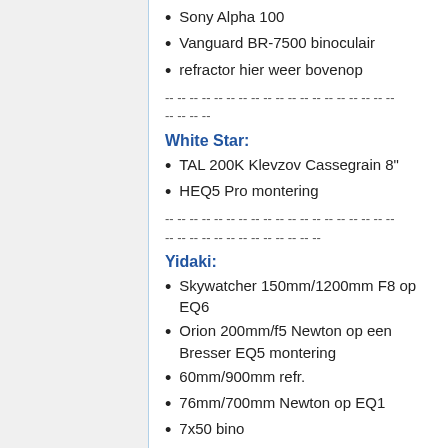Sony Alpha 100
Vanguard BR-7500 binoculair
refractor hier weer bovenop
-- -- -- -- -- -- -- -- -- -- -- -- -- -- -- -- -- -- -- -- -- -- --
White Star:
TAL 200K Klevzov Cassegrain 8"
HEQ5 Pro montering
-- -- -- -- -- -- -- -- -- -- -- -- -- -- -- -- -- -- -- -- -- -- --
Yidaki:
Skywatcher 150mm/1200mm F8 op EQ6
Orion 200mm/f5 Newton op een Bresser EQ5 montering
60mm/900mm refr.
76mm/700mm Newton op EQ1
7x50 bino